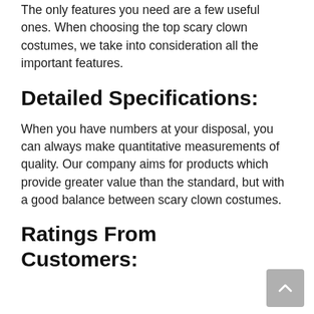The only features you need are a few useful ones. When choosing the top scary clown costumes, we take into consideration all the important features.
Detailed Specifications:
When you have numbers at your disposal, you can always make quantitative measurements of quality. Our company aims for products which provide greater value than the standard, but with a good balance between scary clown costumes.
Ratings From Customers: